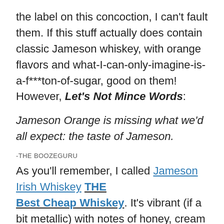the label on this concoction, I can't fault them. If this stuff actually does contain classic Jameson whiskey, with orange flavors and what-I-can-only-imagine-is-a-f***ton-of-sugar, good on them! However, Let's Not Mince Words:
Jameson Orange is missing what we'd all expect: the taste of Jameson.
-THE BOOZEGURU
As you'll remember, I called Jameson Irish Whiskey THE Best Cheap Whiskey. It's vibrant (if a bit metallic) with notes of honey, cream cracker, vanilla and orange peel. (Or, if you'd rather: shortbread cookie with an orange peel twist.) If offered a glass of Jameson, I would never complain, and never refuse.
And if this stuff had classic Jameson in its scent or flavor